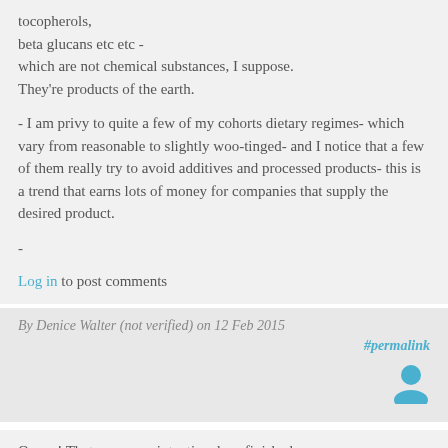tocopherols,
beta glucans etc etc -
which are not chemical substances, I suppose. They're products of the earth.
- I am privy to quite a few of my cohorts dietary regimes- which vary from reasonable to slightly woo-tinged- and I notice that a few of them really try to avoid additives and processed products- this is a trend that earns lots of money for companies that supply the desired product.
-
Log in to post comments
By Denice Walter (not verified) on 12 Feb 2015
#permalink
[Figure (illustration): User avatar icon - blue silhouette of a person]
Ooops! That was an unintentional- unfinished- posting.